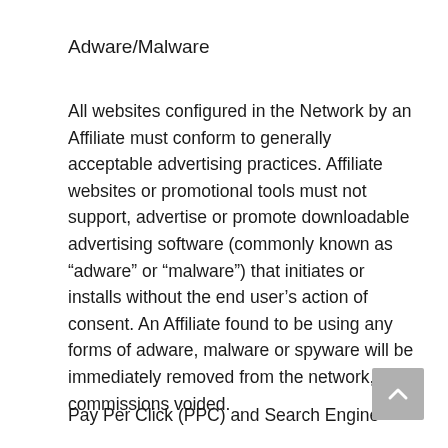Adware/Malware
All websites configured in the Network by an Affiliate must conform to generally acceptable advertising practices. Affiliate websites or promotional tools must not support, advertise or promote downloadable advertising software (commonly known as “adware” or “malware”) that initiates or installs without the end user’s action of consent. An Affiliate found to be using any forms of adware, malware or spyware will be immediately removed from the network, and commissions voided.
Pay Per Click (PPC) and Search Engine Marketing